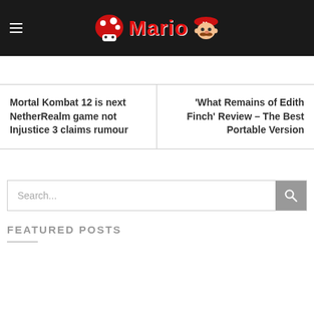Mario
Mortal Kombat 12 is next NetherRealm game not Injustice 3 claims rumour
'What Remains of Edith Finch' Review – The Best Portable Version
Search...
FEATURED POSTS